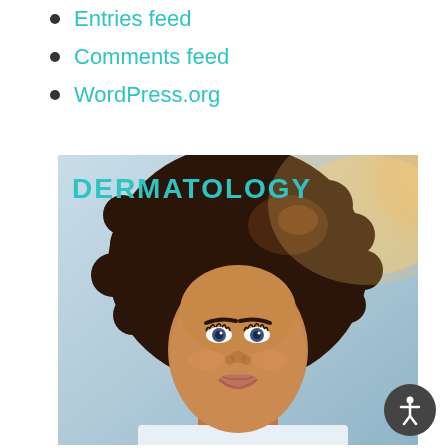Entries feed
Comments feed
WordPress.org
[Figure (photo): Portrait photo of a smiling woman with curly hair, warm lighting. Text overlay reads DERMATOLOGY in teal/cyan color.]